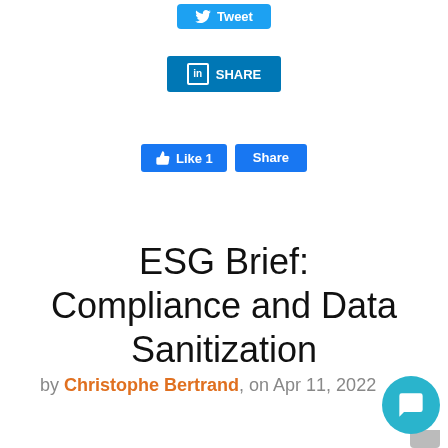[Figure (screenshot): Twitter Tweet button (blue rounded rectangle)]
[Figure (screenshot): LinkedIn Share button (blue rectangle with 'in' logo and SHARE text)]
[Figure (screenshot): Facebook Like 1 and Share buttons (blue rectangles)]
ESG Brief: Compliance and Data Sanitization
by Christophe Bertrand, on Apr 11, 2022